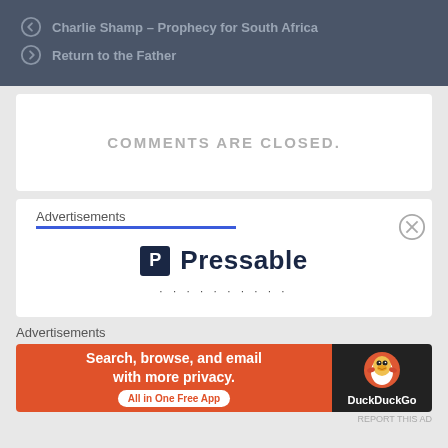← Charlie Shamp – Prophecy for South Africa
→ Return to the Father
COMMENTS ARE CLOSED.
Advertisements
[Figure (logo): Pressable logo with P icon and text]
Advertisements
[Figure (screenshot): DuckDuckGo ad banner: Search, browse, and email with more privacy. All in One Free App. DuckDuckGo logo on dark background.]